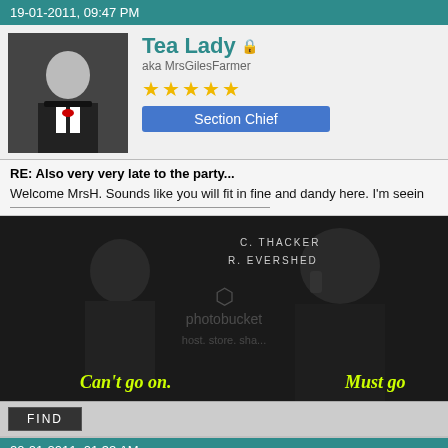19-01-2011, 09:47 PM
Tea Lady aka MrsGilesFarmer Section Chief
RE: Also very very late to the party...
Welcome MrsH. Sounds like you will fit in fine and dandy here. I'm seein
[Figure (screenshot): Movie still with text 'C. THACKER', 'R. EVERSHED', 'Can't go on.' and 'Must go' overlaid, with Photobucket watermark]
FIND
20-01-2011, 01:32 AM
lwhite53 Section Chief